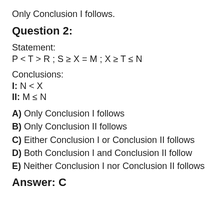Only Conclusion I follows.
Question 2:
Statement:
P < T > R ; S ≥ X = M ; X ≥ T ≤ N
Conclusions:
I: N < X
II: M ≤ N
A) Only Conclusion I follows
B) Only Conclusion II follows
C) Either Conclusion I or Conclusion II follows
D) Both Conclusion I and Conclusion II follow
E) Neither Conclusion I nor Conclusion II follows
Answer: C